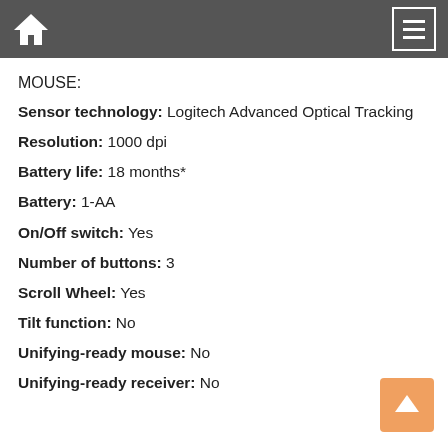MOUSE:
Sensor technology: Logitech Advanced Optical Tracking
Resolution: 1000 dpi
Battery life: 18 months*
Battery: 1-AA
On/Off switch: Yes
Number of buttons: 3
Scroll Wheel: Yes
Tilt function: No
Unifying-ready mouse: No
Unifying-ready receiver: No